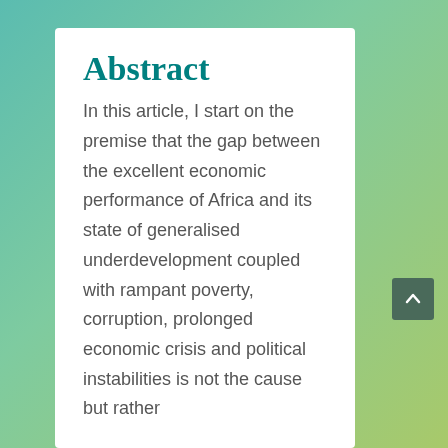Abstract
In this article, I start on the premise that the gap between the excellent economic performance of Africa and its state of generalised underdevelopment coupled with rampant poverty, corruption, prolonged economic crisis and political instabilities is not the cause but rather